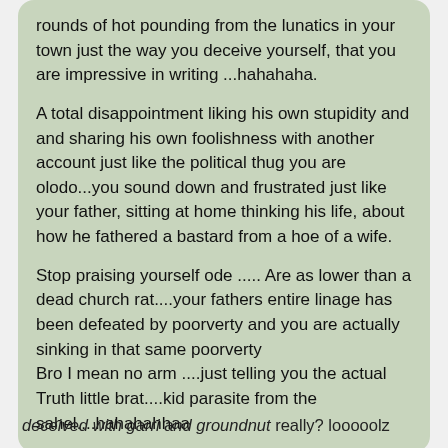rounds of hot pounding from the lunatics in your town just the way you deceive yourself, that you are impressive in writing ...hahahaha.

A total disappointment liking his own stupidity and and sharing his own foolishness with another account just like the political thug you are olodo...you sound down and frustrated just like your father, sitting at home thinking his life, about how he fathered a bastard from a hoe of a wife.

Stop praising yourself ode ..... Are as lower than a dead church rat....your fathers entire linage has been defeated by poorverty and you are actually sinking in that same poorverty
Bro I mean no arm ....just telling you the actual Truth little brat....kid parasite from the sahel....hahahahhaa
deceived with garri and groundnut really? looooolz